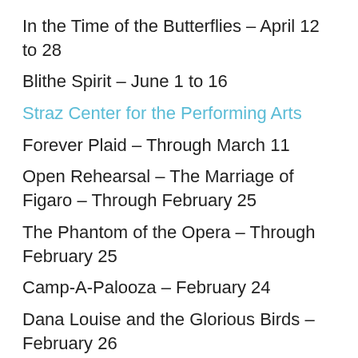In the Time of the Butterflies – April 12 to 28
Blithe Spirit – June 1 to 16
Straz Center for the Performing Arts
Forever Plaid – Through March 11
Open Rehearsal – The Marriage of Figaro – Through February 25
The Phantom of the Opera – Through February 25
Camp-A-Palooza – February 24
Dana Louise and the Glorious Birds – February 26
Wolfgang Amadeus Mozart's The Marriage of Figaro – March 3+